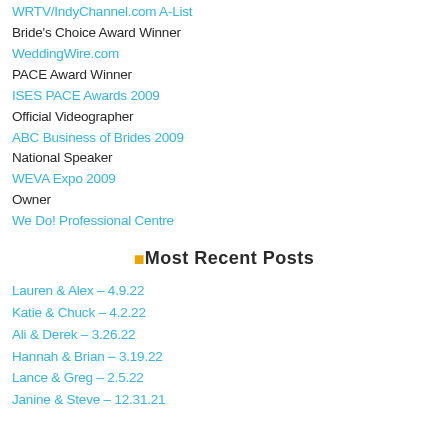WRTV/IndyChannel.com A-List
Bride's Choice Award Winner
WeddingWire.com
PACE Award Winner
ISES PACE Awards 2009
Official Videographer
ABC Business of Brides 2009
National Speaker
WEVA Expo 2009
Owner
We Do! Professional Centre
Most Recent Posts
Lauren & Alex – 4.9.22
Katie & Chuck – 4.2.22
Ali & Derek – 3.26.22
Hannah & Brian – 3.19.22
Lance & Greg – 2.5.22
Janine & Steve – 12.31.21